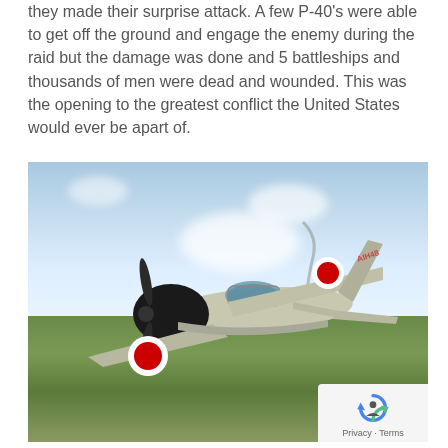they made their surprise attack. A few P-40's were able to get off the ground and engage the enemy during the raid but the damage was done and 5 battleships and thousands of men were dead and wounded. This was the opening to the greatest conflict the United States would ever be apart of.
[Figure (photo): Two WWII-era aircraft flying in formation over green landscape with blue sky and clouds. The foreground aircraft is a Japanese Zero fighter with a large black engine cowling, silver fuselage, and a red circle (Hinomaru) on the wing. A second aircraft, appearing to be an American P-40 Warhawk in olive drab with a star insignia, flies behind and below. A reCAPTCHA privacy badge appears in the bottom right corner.]